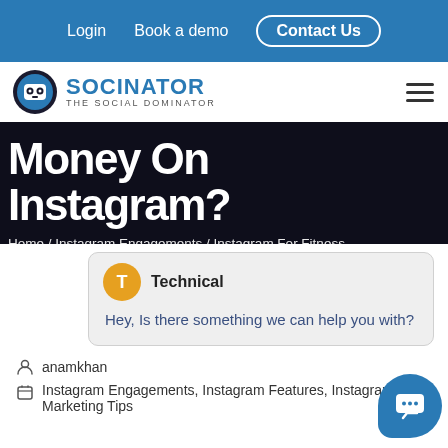Login  Book a demo  Contact Us
[Figure (logo): Socinator - The Social Dominator logo with robot icon]
Money On Instagram?
Home / Instagram Engagements / Instagram For Fitness...
Technical
Hey, Is there something we can help you with?
anamkhan
Instagram Engagements, Instagram Features, Instagram Marketing Tips